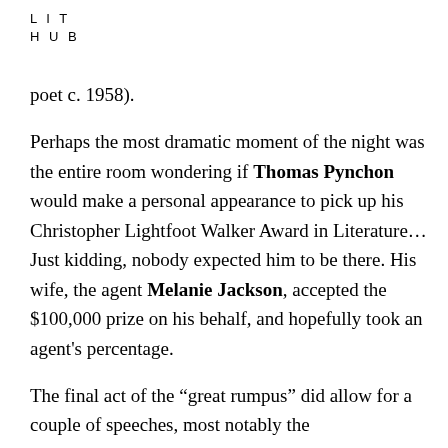LIT
HUB
poet c. 1958).
Perhaps the most dramatic moment of the night was the entire room wondering if Thomas Pynchon would make a personal appearance to pick up his Christopher Lightfoot Walker Award in Literature… Just kidding, nobody expected him to be there. His wife, the agent Melanie Jackson, accepted the $100,000 prize on his behalf, and hopefully took an agent's percentage.
The final act of the “great rumpus” did allow for a couple of speeches, most notably the